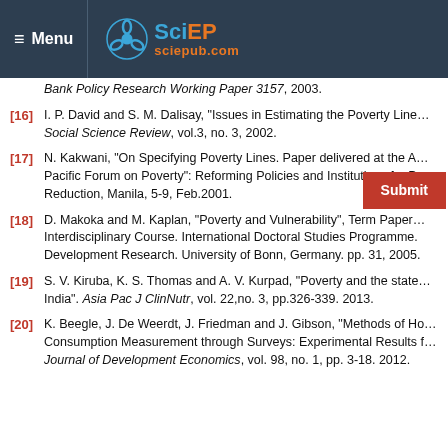Menu | SciEP sciepub.com
Bank Policy Research Working Paper 3157, 2003.
[16] I. P. David and S. M. Dalisay, "Issues in Estimating the Poverty Line" Social Science Review, vol.3, no. 3, 2002.
[17] N. Kakwani, "On Specifying Poverty Lines. Paper delivered at the Asian Pacific Forum on Poverty": Reforming Policies and Institutions for Poverty Reduction, Manila, 5-9, Feb.2001.
[18] D. Makoka and M. Kaplan, "Poverty and Vulnerability", Term Paper. Interdisciplinary Course. International Doctoral Studies Programme. Development Research. University of Bonn, Germany. pp. 31, 2005.
[19] S. V. Kiruba, K. S. Thomas and A. V. Kurpad, "Poverty and the state of India". Asia Pac J ClinNutr, vol. 22,no. 3, pp.326-339. 2013.
[20] K. Beegle, J. De Weerdt, J. Friedman and J. Gibson, "Methods of Household Consumption Measurement through Surveys: Experimental Results from Tanzania. Journal of Development Economics, vol. 98, no. 1, pp. 3-18. 2012.